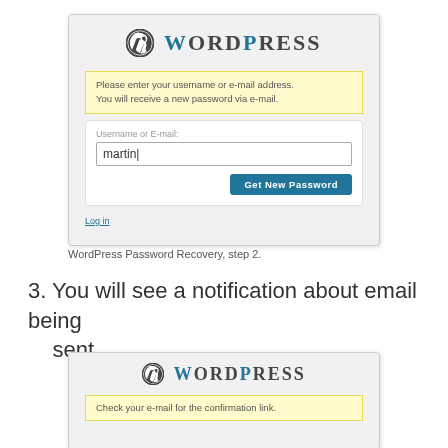[Figure (screenshot): WordPress Password Recovery step 2 form screenshot showing logo, yellow notice box with text 'Please enter your username or e-mail address. You will receive a new password via e-mail.', a text input field containing 'martin', and a 'Get New Password' button, plus a 'Log in' link.]
WordPress Password Recovery, step 2.
3. You will see a notification about email being sent.
[Figure (screenshot): WordPress Password Recovery step 3 screenshot showing WordPress logo and a yellow notice box with text 'Check your e-mail for the confirmation link.']